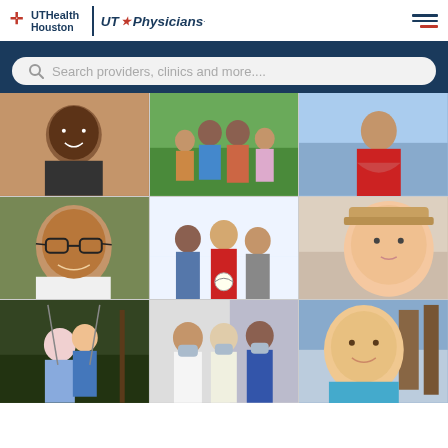[Figure (logo): UTHealth Houston and UT Physicians logos with hamburger menu icon]
[Figure (screenshot): Search bar with placeholder text: Search providers, clinics and more...]
[Figure (photo): 3x3 grid of patient and medical staff photos on UTHealth Houston UT Physicians website]